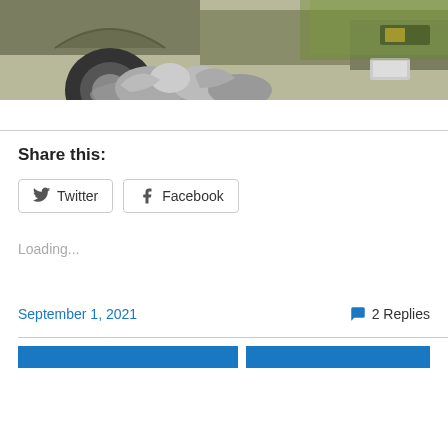[Figure (photo): Photo of a vehicle (truck/SUV) with garbage/trash bags on the ground nearby, green grass visible in background]
Share this:
Twitter  Facebook
Loading...
September 1, 2021
2 Replies